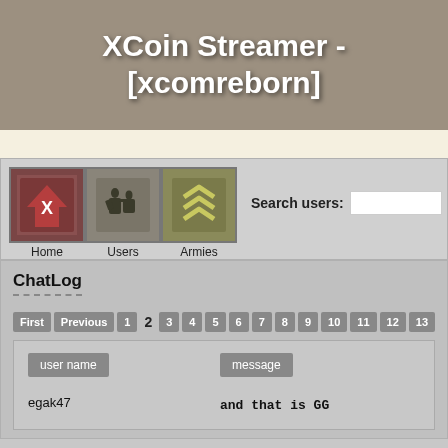XCoin Streamer - [xcomreborn]
[Figure (screenshot): Navigation bar with three game-themed icon buttons: Home, Users, Armies; and a Search users input field]
ChatLog
First Previous 1 2 3 4 5 6 7 8 9 10 11 12 13 ...
| user name | message |
| --- | --- |
| egak47 | and that is GG |